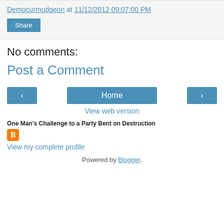Democurmudgeon at 11/12/2012 09:07:00 PM
Share
No comments:
Post a Comment
‹ Home ›
View web version
One Man's Challenge to a Party Bent on Destruction
[Figure (logo): Blogger orange B logo icon]
View my complete profile
Powered by Blogger.